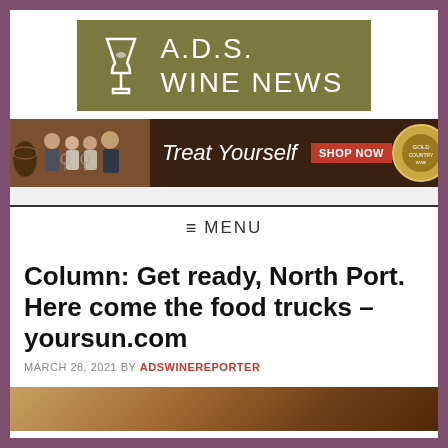[Figure (logo): A.D.S. Wine News logo with wine glass icon on olive/dark yellow background]
[Figure (photo): Advertisement banner: group of four people holding wine glasses with text 'Treat Yourself SHOP NOW' on dark brown background with winery badge]
≡ MENU
Column: Get ready, North Port. Here come the food trucks – yoursun.com
MARCH 28, 2021 BY ADSWINEREPORTER
[Figure (photo): Partial bottom image, warm orange/brown tones, appears to be food]